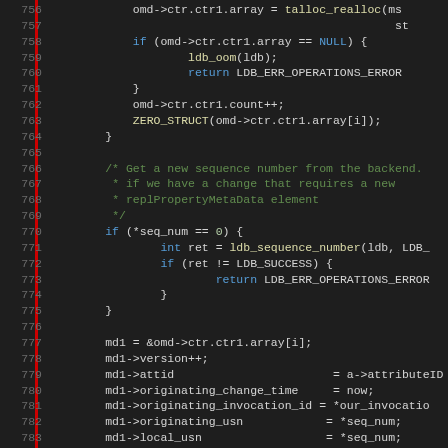[Figure (screenshot): Source code listing in a dark-themed code editor showing C code lines 756-787. Contains memory allocation, null checks, sequence number retrieval, and metadata field assignments.]